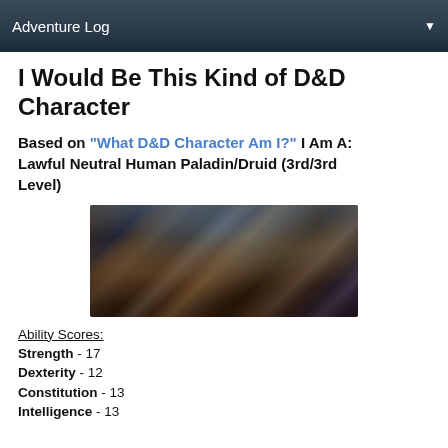Adventure Log
I Would Be This Kind of D&D Character
Based on "What D&D Character Am I?" I Am A: Lawful Neutral Human Paladin/Druid (3rd/3rd Level)
[Figure (illustration): Fantasy RPG group illustration showing multiple armored characters and warriors in a dramatic battle-ready pose against a dark background]
Ability Scores:
Strength - 17
Dexterity - 12
Constitution - 13
Intelligence - 13